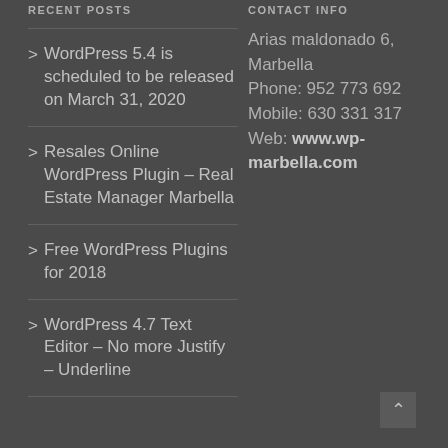RECENT POSTS
> WordPress 5.4 is scheduled to be released on March 31, 2020
> Resales Online WordPress Plugin – Real Estate Manager Marbella
> Free WordPress Plugins for 2018
> WordPress 4.7 Text Editor – No more Justify – Underline
CONTACT INFO
Arias maldonado 6, Marbella
Phone: 952 773 692
Mobile: 630 331 317
Web: www.wp-marbella.com